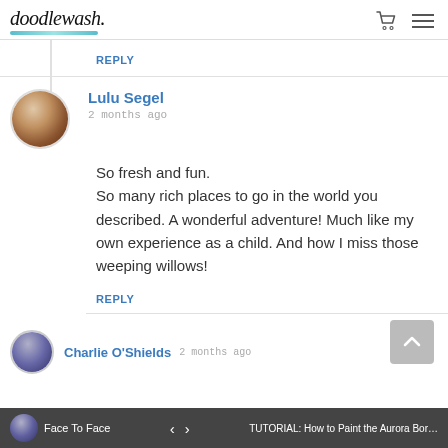doodlewash.
REPLY
Lulu Segel
2 months ago
So fresh and fun.
So many rich places to go in the world you described. A wonderful adventure! Much like my own experience as a child. And how I miss those weeping willows!
REPLY
Charlie O'Shields  2 months ago
Face To Face   <   >   TUTORIAL: How to Paint the Aurora Bor...